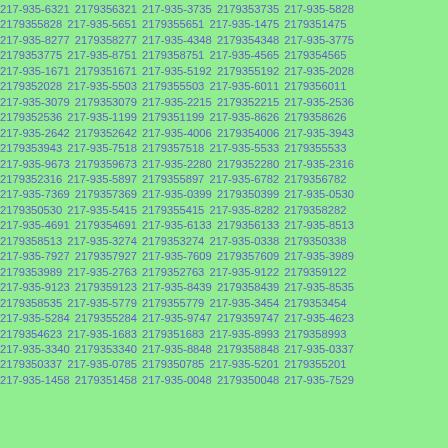217-935-6321 2179356321 217-935-3735 2179353735 217-935-5828 2179355828 217-935-5651 2179355651 217-935-1475 2179351475 217-935-8277 2179358277 217-935-4348 2179354348 217-935-3775 2179353775 217-935-8751 2179358751 217-935-4565 2179354565 217-935-1671 2179351671 217-935-5192 2179355192 217-935-2028 2179352028 217-935-5503 2179355503 217-935-6011 2179356011 217-935-3079 2179353079 217-935-2215 2179352215 217-935-2536 2179352536 217-935-1199 2179351199 217-935-8626 2179358626 217-935-2642 2179352642 217-935-4006 2179354006 217-935-3943 2179353943 217-935-7518 2179357518 217-935-5533 2179355533 217-935-9673 2179359673 217-935-2280 2179352280 217-935-2316 2179352316 217-935-5897 2179355897 217-935-6782 2179356782 217-935-7369 2179357369 217-935-0399 2179350399 217-935-0530 2179350530 217-935-5415 2179355415 217-935-8282 2179358282 217-935-4691 2179354691 217-935-6133 2179356133 217-935-8513 2179358513 217-935-3274 2179353274 217-935-0338 2179350338 217-935-7927 2179357927 217-935-7609 2179357609 217-935-3989 2179353989 217-935-2763 2179352763 217-935-9122 2179359122 217-935-9123 2179359123 217-935-8439 2179358439 217-935-8535 2179358535 217-935-5779 2179355779 217-935-3454 2179353454 217-935-5284 2179355284 217-935-9747 2179359747 217-935-4623 2179354623 217-935-1683 2179351683 217-935-8993 2179358993 217-935-3340 2179353340 217-935-8848 2179358848 217-935-0337 2179350337 217-935-0785 2179350785 217-935-5201 2179355201 217-935-1458 2179351458 217-935-0048 2179350048 217-935-7529